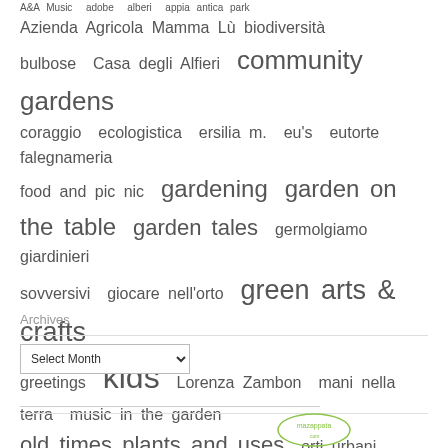[Figure (infographic): Tag cloud with various Italian and English gardening/community related tags in varying font sizes. Tags include: A&A Music, adobe, alberi, appia antica park, Azienda Agricola Mamma Lù, biodiversità, bulbose, Casa degli Alfieri, community gardens, coraggio, ecologistica, ersilia m., eu's, eutorte, falegnameria, food and pic nic, gardening, garden on the table, garden tales, germolgiamo, giardinieri sovversivi, giocare nell'orto, green arts & crafts, greetings, kids, Lorenza Zambon, mani nella terra, music in the garden, old times plants and uses, orti urbani garbatella, ottobrata romana, Regione Lazio, rose garden, roses, seeds, semidicarta, SEMINATI, slow food, studio arturo, swap, Tai chi, to learn, to write, watercolor, yoga]
Archives
[Figure (screenshot): Select Month dropdown and footer logo partial view]